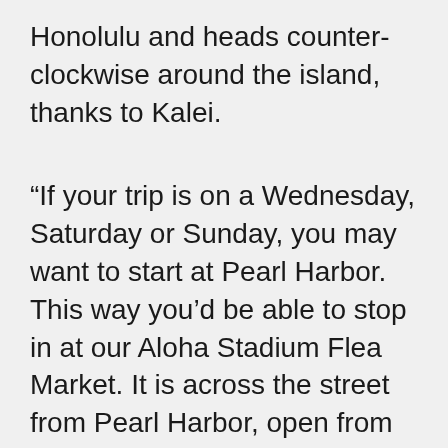Honolulu and heads counter-clockwise around the island, thanks to Kalei.
“If your trip is on a Wednesday, Saturday or Sunday, you may want to start at Pearl Harbor. This way you’d be able to stop in at our Aloha Stadium Flea Market. It is across the street from Pearl Harbor, open from 8am – 2pm and has a vast variety of local favorites, including food, souvenirs, ocean toys, clothing and everything imaginable. Next stop is The Dole Pineapple plantation, then to Haleiwa and maybe lunch at my favorite Mexican Restaurant Cholo’s’ or